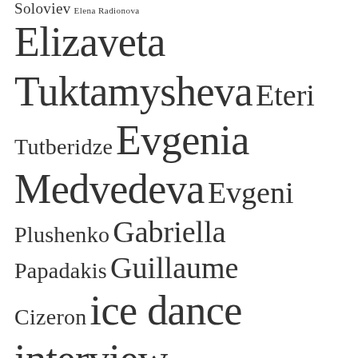[Figure (infographic): Tag cloud of figure skating related names and terms at various font sizes indicating frequency/importance. Names include Soloviev, Elena Radionova, Elizaveta Tuktamysheva, Eteri Tutberidze, Evgenia Medvedeva, Evgeni Plushenko, Gabriella Papadakis, Guillaume Cizeron, ice dance, interview, Jason Brown, Javier Fernandez, Kaitlin Hawayek, Jean-Luc Baker, Kaitlyn Weaver, Andrew Poje, Kamila Valieva, Ksenia Stolbova, Fedor Klimov, ladies, Madison Chock, Evan Bates, Madison Hubbell, Zachary Donohue, Maia Shibutani, Alex Shibutani, Maria Sotskova, Meagan Duhamel, Eric Radford, men, Meryl Davis.]